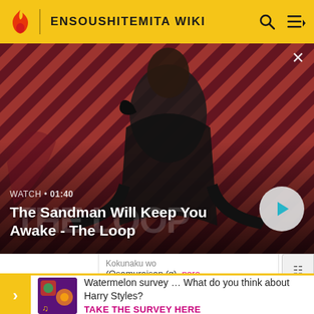ENSOUSHITEMITA WIKI
[Figure (screenshot): Video thumbnail showing a dark-clothed figure with a raven on their shoulder against a red diagonal striped background. Text overlay: WATCH · 01:40 and title The Sandman Will Keep You Awake - The Loop. Play button on right.]
WATCH · 01:40
The Sandman Will Keep You Awake - The Loop
Kokunaku wo (Osamuraisan (g), nero (vo))
Watermelon survey … What do you think about Harry Styles? TAKE THE SURVEY HERE